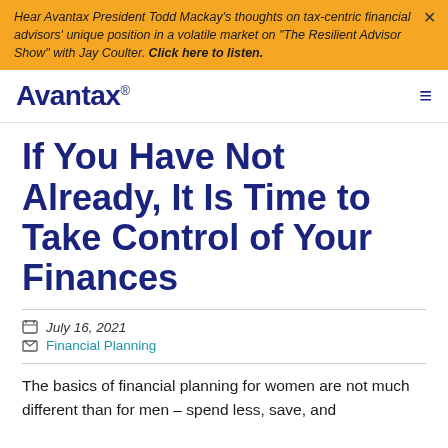Hear Avantax President Todd Mackay's thoughts on tax-centric financial advisors' unique position in a volatile market on "The Resilient Advisor Show" with Jay Coulter. Click here to listen.
[Figure (logo): Avantax logo with registered trademark symbol, dark navy blue text, with hamburger menu icon on the right]
If You Have Not Already, It Is Time to Take Control of Your Finances
July 16, 2021
Financial Planning
The basics of financial planning for women are not much different than for men – spend less, save, and